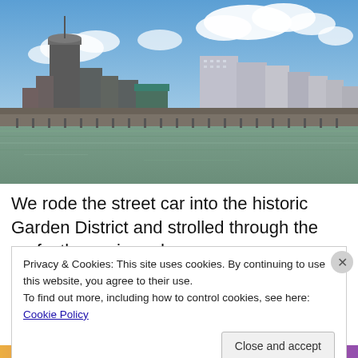[Figure (photo): City skyline of New Orleans viewed from the river, with tall buildings, blue sky and white clouds, river in foreground]
We rode the street car into the historic Garden District and strolled through the perfectly manicured
Privacy & Cookies: This site uses cookies. By continuing to use this website, you agree to their use.
To find out more, including how to control cookies, see here: Cookie Policy
Close and accept